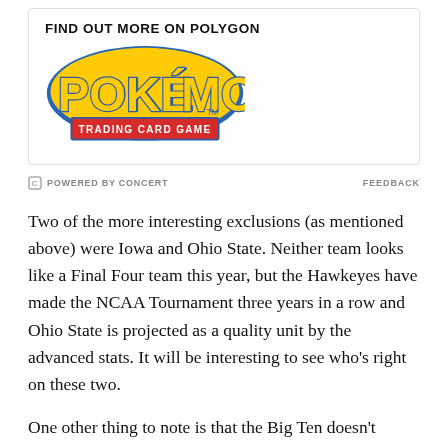[Figure (logo): Pokemon Trading Card Game logo inside an advertisement box with heading 'FIND OUT MORE ON POLYGON']
POWERED BY CONCERT   FEEDBACK
Two of the more interesting exclusions (as mentioned above) were Iowa and Ohio State. Neither team looks like a Final Four team this year, but the Hawkeyes have made the NCAA Tournament three years in a row and Ohio State is projected as a quality unit by the advanced stats. It will be interesting to see who’s right on these two.
One other thing to note is that the Big Ten doesn’t